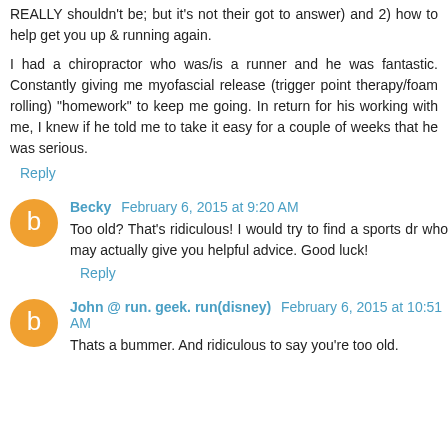REALLY shouldn't be; but it's not their got to answer) and 2) how to help get you up & running again.
I had a chiropractor who was/is a runner and he was fantastic. Constantly giving me myofascial release (trigger point therapy/foam rolling) "homework" to keep me going. In return for his working with me, I knew if he told me to take it easy for a couple of weeks that he was serious.
Reply
Becky  February 6, 2015 at 9:20 AM
Too old? That's ridiculous! I would try to find a sports dr who may actually give you helpful advice. Good luck!
Reply
John @ run. geek. run(disney)  February 6, 2015 at 10:51 AM
Thats a bummer. And ridiculous to say you're too old.